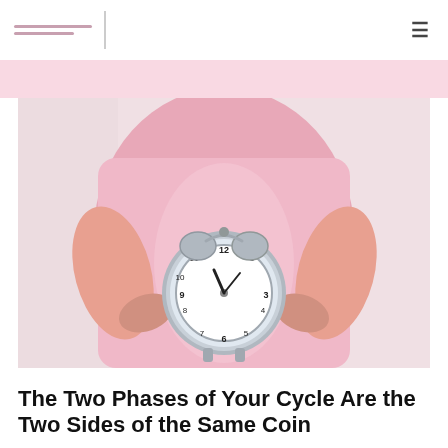[Figure (photo): A person in a pink shirt holding a silver alarm clock in front of their stomach/abdomen area, against a light background.]
The Two Phases of Your Cycle Are the Two Sides of the Same Coin